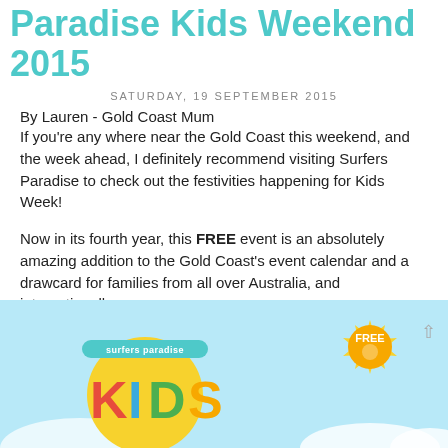Family Fun at the Surfers Paradise Kids Weekend 2015
SATURDAY, 19 SEPTEMBER 2015
By Lauren - Gold Coast Mum
If you're any where near the Gold Coast this weekend, and the week ahead, I definitely recommend visiting Surfers Paradise to check out the festivities happening for Kids Week!
Now in its fourth year, this FREE event is an absolutely amazing addition to the Gold Coast's event calendar and a drawcard for families from all over Australia, and internationally.
[Figure (illustration): Surfers Paradise Kids Weekend 2015 promotional image showing colorful KIDS logo on yellow circle against a light blue sky background, with a yellow sun badge saying FREE on the right side.]